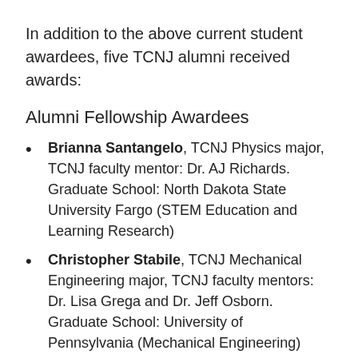In addition to the above current student awardees, five TCNJ alumni received awards:
Alumni Fellowship Awardees
Brianna Santangelo, TCNJ Physics major, TCNJ faculty mentor: Dr. AJ Richards. Graduate School: North Dakota State University Fargo (STEM Education and Learning Research)
Christopher Stabile, TCNJ Mechanical Engineering major, TCNJ faculty mentors: Dr. Lisa Grega and Dr. Jeff Osborn. Graduate School: University of Pennsylvania (Mechanical Engineering)
Alumni Honorable Mention Awardees